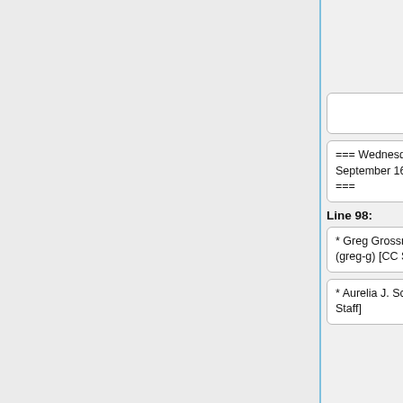[Former CC Intern]
=== Wednesday, September 16, 2009 ===
=== Wednesday, September 16, 2009 ===
Line 98:
Line 104:
* Greg Grossmeier (greg-g) [CC Staff]
* Greg Grossmeier (greg-g) [CC Staff]
* Aurelia J. Schultz [CC Staff]
* Aurelia J. Schultz [CC Staff]
* John Doig (JED3) [CC Staff]
* Parker